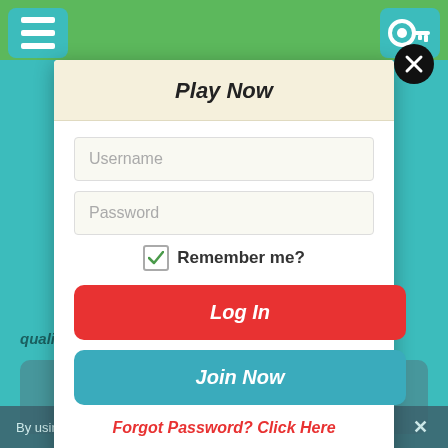[Figure (screenshot): Website background with teal color and green navigation strip at top with hamburger menu button and key icon button]
Play Now
Username
Password
Remember me?
Log In
Join Now
Forgot Password? Click Here
qualifying deposit
Join Now
By using our website, you are agreeing to the Cookie Policy.